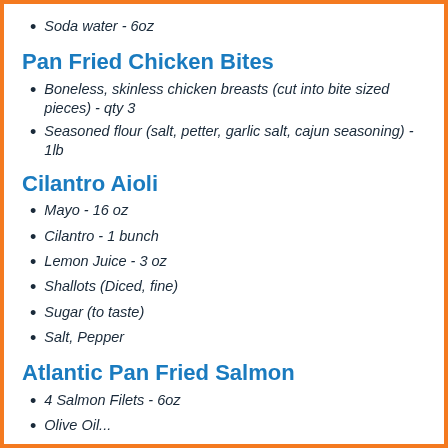Soda water - 6oz
Pan Fried Chicken Bites
Boneless, skinless chicken breasts (cut into bite sized pieces) - qty 3
Seasoned flour (salt, petter, garlic salt, cajun seasoning) - 1lb
Cilantro Aioli
Mayo - 16 oz
Cilantro - 1 bunch
Lemon Juice - 3 oz
Shallots (Diced, fine)
Sugar (to taste)
Salt, Pepper
Atlantic Pan Fried Salmon
4 Salmon Filets - 6oz
Olive Oil...